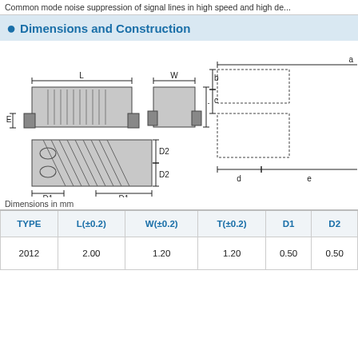Common mode noise suppression of signal lines in high speed and high de...
Dimensions and Construction
[Figure (engineering-diagram): Engineering dimensional diagrams showing component views with labels L, W, T, E, D1, D2 for a SMD common mode choke inductor, plus land pattern with labels a, b, c, d, e]
Dimensions in mm
| TYPE | L(±0.2) | W(±0.2) | T(±0.2) | D1 | D2 |
| --- | --- | --- | --- | --- | --- |
| 2012 | 2.00 | 1.20 | 1.20 | 0.50 | 0.50 |